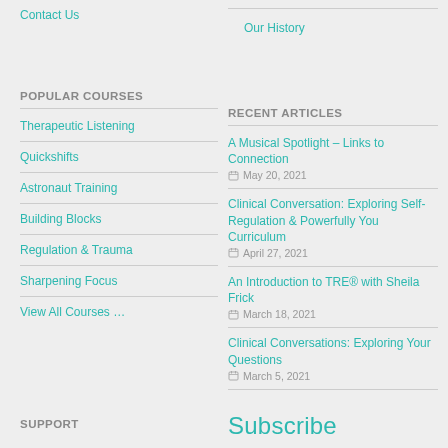Contact Us
Our History
POPULAR COURSES
Therapeutic Listening
Quickshifts
Astronaut Training
Building Blocks
Regulation & Trauma
Sharpening Focus
View All Courses …
RECENT ARTICLES
A Musical Spotlight – Links to Connection
May 20, 2021
Clinical Conversation: Exploring Self-Regulation & Powerfully You Curriculum
April 27, 2021
An Introduction to TRE® with Sheila Frick
March 18, 2021
Clinical Conversations: Exploring Your Questions
March 5, 2021
SUPPORT
Subscribe